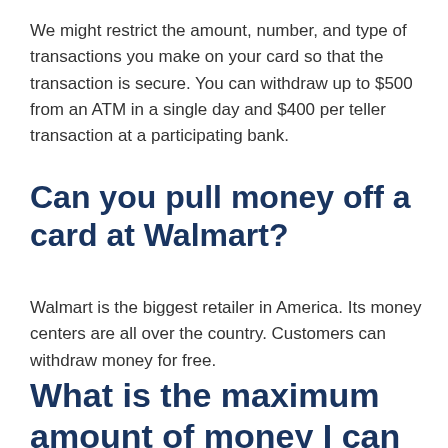We might restrict the amount, number, and type of transactions you make on your card so that the transaction is secure. You can withdraw up to $500 from an ATM in a single day and $400 per teller transaction at a participating bank.
Can you pull money off a card at Walmart?
Walmart is the biggest retailer in America. Its money centers are all over the country. Customers can withdraw money for free.
What is the maximum amount of money I can